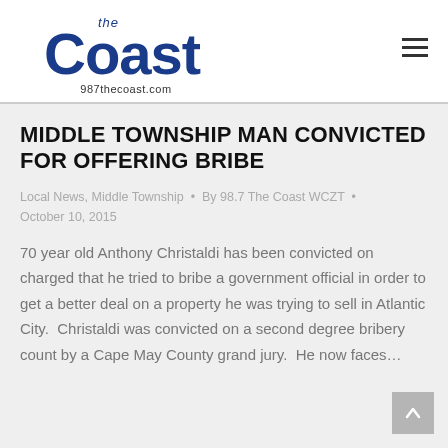[Figure (logo): 98.7 The Coast radio station logo with '987thecoast.com' URL beneath]
MIDDLE TOWNSHIP MAN CONVICTED FOR OFFERING BRIBE
Local News, Middle Township · By 98.7 The Coast WCZT · October 10, 2015
70 year old Anthony Christaldi has been convicted on charged that he tried to bribe a government official in order to get a better deal on a property he was trying to sell in Atlantic City.  Christaldi was convicted on a second degree bribery count by a Cape May County grand jury.  He now faces…